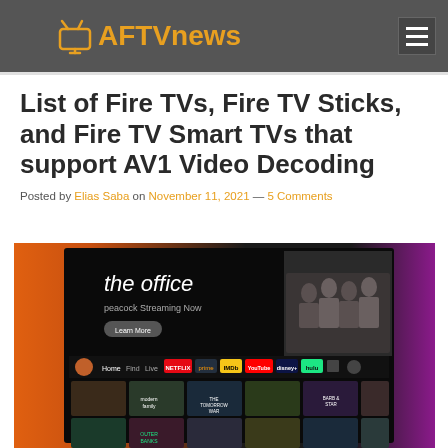AFTVnews
List of Fire TVs, Fire TV Sticks, and Fire TV Smart TVs that support AV1 Video Decoding
Posted by Elias Saba on November 11, 2021 — 5 Comments
[Figure (screenshot): Screenshot of Fire TV interface showing 'The Office' on Peacock streaming app with home screen navigation bar and content thumbnails]